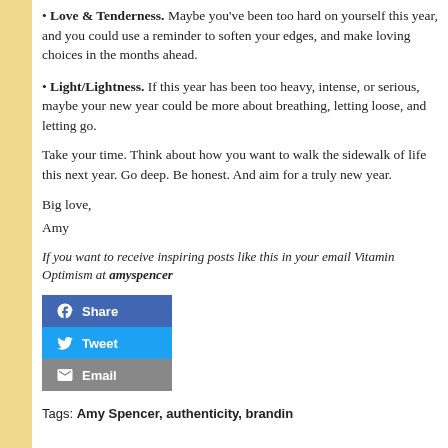• Love & Tenderness. Maybe you've been too hard on yourself this year, and you could use a reminder to soften your edges, and make loving choices in the months ahead.
• Light/Lightness. If this year has been too heavy, intense, or serious, maybe your new year could be more about breathing, letting loose, and letting go.
Take your time. Think about how you want to walk the sidewalk of life this next year. Go deep. Be honest. And aim for a truly new year.
Big love,
Amy
If you want to receive inspiring posts like this in your email Vitamin Optimism at amyspencer…
[Figure (infographic): Social sharing buttons: Share (Facebook, blue), Tweet (Twitter, light blue), Email (grey)]
Tags: Amy Spencer, authenticity, brandin…